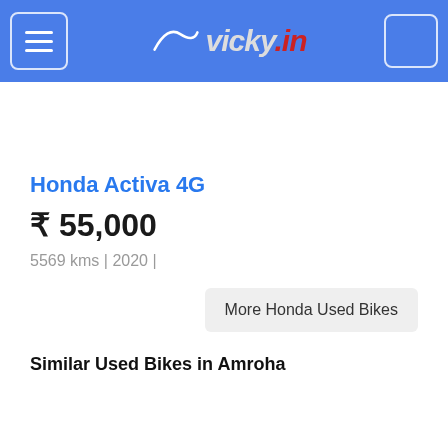vicky.in
Honda Activa 4G
₹ 55,000
5569 kms | 2020 |
More Honda Used Bikes
Similar Used Bikes in Amroha